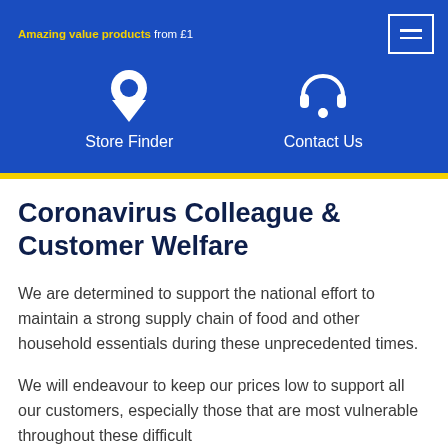Amazing value products from £1
[Figure (screenshot): Blue navigation bar with Store Finder (map pin icon) and Contact Us (headphones icon) links, plus hamburger menu icon in top right]
Coronavirus Colleague & Customer Welfare
We are determined to support the national effort to maintain a strong supply chain of food and other household essentials during these unprecedented times.
We will endeavour to keep our prices low to support all our customers, especially those that are most vulnerable throughout these difficult